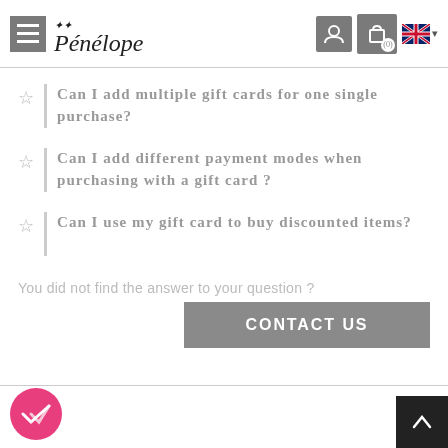Pénélope - navigation header with hamburger menu, logo, user icon, cart icon, language selector
Can I add multiple gift cards for one single purchase?
Can I add different payment modes when purchasing with a gift card ?
Can I use my gift card to buy discounted items?
You did not find the answer to your question ?
CONTACT US